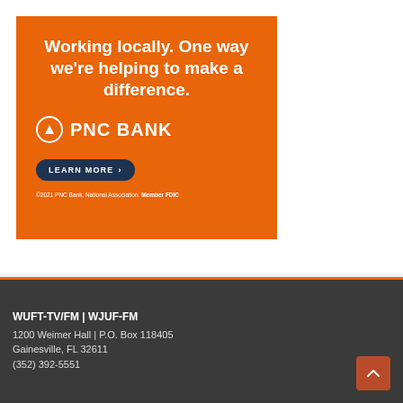[Figure (illustration): PNC Bank advertisement on orange background. Headline: 'Working locally. One way we're helping to make a difference.' PNC Bank logo. 'LEARN MORE >' button in dark navy. Footer: '©2021 PNC Bank, National Association. Member FDIC']
WUFT-TV/FM | WJUF-FM
1200 Weimer Hall | P.O. Box 118405
Gainesville, FL 32611
(352) 392-5551